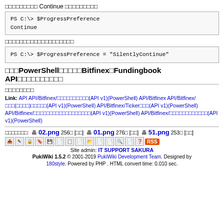□□□□□□□□□ Continue □□□□□□□□□
PS C:\> $ProgressPreference
Continue
□□□□□□□□□□□□□□□□□□□
PS C:\> $ProgressPreference = "SilentlyContinue"
□□□PowerShell□□□□□Bitfinex□Fundingbook API□□□□□□□□□□
□□□□□□□□
Link: API API/Bitfinex/□□□□□□□□□□(API v1)(PowerShell) API/Bitfinex API/Bitfinex/□□□(□□□□)□□□□□(API v1)(PowerShell) API/Bitfinex/Ticker□□□(API v1)(PowerShell) API/Bitfinex/□□□□□□□□□□□□□□□□□□(API v1)(PowerShell) API/Bitfinex/□□□□□□□□□□□□(API v1)(PowerShell)
□□□□□□□: 02.png 256□ [□□] 01.png 276□ [□□] 51.png 253□ [□□]
Site admin: IT SUPPORT SAKURA
PukiWiki 1.5.2 © 2001-2019 PukiWiki Development Team. Designed by 180style. Powered by PHP . HTML convert time: 0.010 sec.